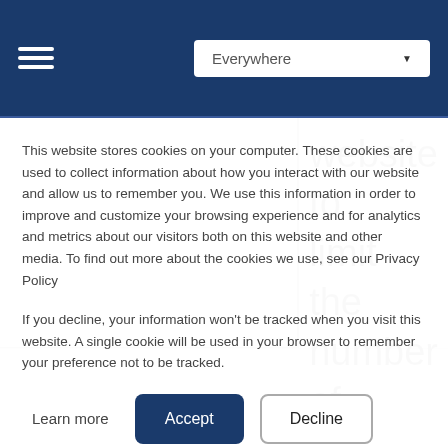[Figure (screenshot): Navigation bar with hamburger menu icon on left and 'Everywhere' dropdown button on right, dark navy blue background]
[Figure (screenshot): Partial background page content with three columns visible, right column showing large text 'website to limit the number of']
This website stores cookies on your computer. These cookies are used to collect information about how you interact with our website and allow us to remember you. We use this information in order to improve and customize your browsing experience and for analytics and metrics about our visitors both on this website and other media. To find out more about the cookies we use, see our Privacy Policy
If you decline, your information won't be tracked when you visit this website. A single cookie will be used in your browser to remember your preference not to be tracked.
Learn more
Accept
Decline